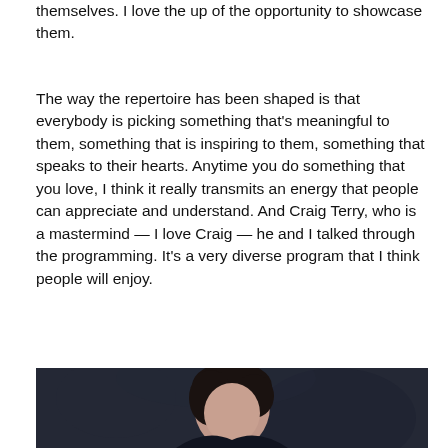themselves. I love the up of the opportunity to showcase them.
The way the repertoire has been shaped is that everybody is picking something that’s meaningful to them, something that is inspiring to them, something that speaks to their hearts. Anytime you do something that you love, I think it really transmits an energy that people can appreciate and understand. And Craig Terry, who is a mastermind — I love Craig — he and I talked through the programming. It’s a very diverse program that I think people will enjoy.
[Figure (photo): Portrait photo of a woman with dark short hair against a dark textured background]